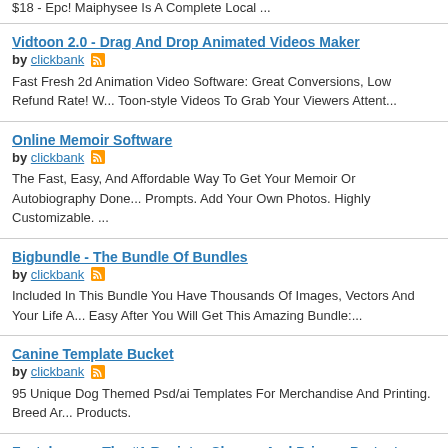$18 - Epc! Maiphysee Is A Complete Local ...
Vidtoon 2.0 - Drag And Drop Animated Videos Maker
by clickbank
Fast Fresh 2d Animation Video Software: Great Conversions, Low Refund Rate! W... Toon-style Videos To Grab Your Viewers Attent...
Online Memoir Software
by clickbank
The Fast, Easy, And Affordable Way To Get Your Memoir Or Autobiography Done... Prompts. Add Your Own Photos. Highly Customizable. ...
Bigbundle - The Bundle Of Bundles
by clickbank
Included In This Bundle You Have Thousands Of Images, Vectors And Your Life A... Easy After You Will Get This Amazing Bundle:...
Canine Template Bucket
by clickbank
95 Unique Dog Themed Psd/ai Templates For Merchandise And Printing. Breed Ar... Products.
Fastcleaner - The #1 Registry Cleaner And Privacy Protector
by clickbank